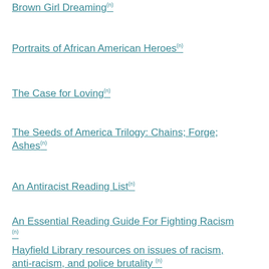Brown Girl Dreaming(n)
Portraits of African American Heroes(n)
The Case for Loving(n)
The Seeds of America Trilogy: Chains; Forge; Ashes(n)
An Antiracist Reading List(n)
An Essential Reading Guide For Fighting Racism (n)
Hayfield Library resources on issues of racism, anti-racism, and police brutality (n)